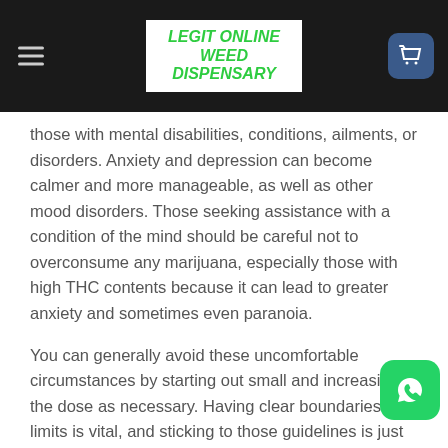LEGIT ONLINE WEED DISPENSARY
those with mental disabilities, conditions, ailments, or disorders. Anxiety and depression can become calmer and more manageable, as well as other mood disorders. Those seeking assistance with a condition of the mind should be careful not to overconsume any marijuana, especially those with high THC contents because it can lead to greater anxiety and sometimes even paranoia.
You can generally avoid these uncomfortable circumstances by starting out small and increasing the dose as necessary. Having clear boundaries and limits is vital, and sticking to those guidelines is just as important.
Hindu Kush Strain Review: Possible Negative Side Effects